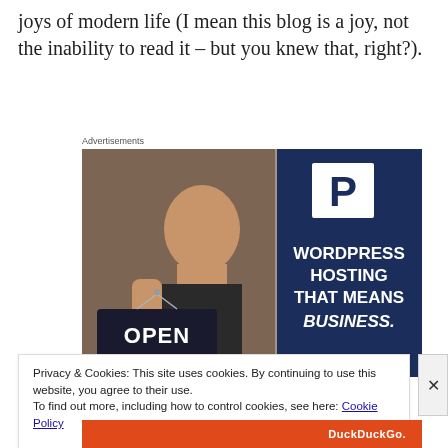joys of modern life (I mean this blog is a joy, not the inability to read it – but you knew that, right?).
Advertisements
[Figure (photo): Advertisement image showing a woman holding an 'OPEN' sign on the left side, and on the right side a dark navy blue panel with a 'P' logo and text reading 'WORDPRESS HOSTING THAT MEANS BUSINESS.']
Privacy & Cookies: This site uses cookies. By continuing to use this website, you agree to their use.
To find out more, including how to control cookies, see here: Cookie Policy
Close and accept